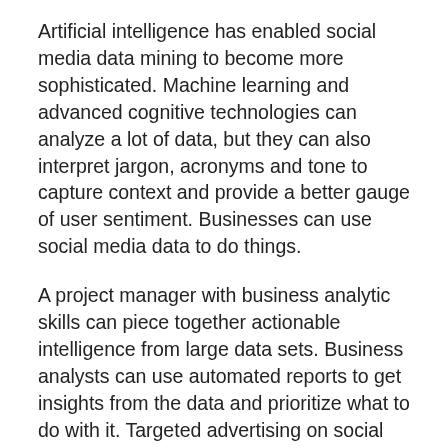Artificial intelligence has enabled social media data mining to become more sophisticated. Machine learning and advanced cognitive technologies can analyze a lot of data, but they can also interpret jargon, acronyms and tone to capture context and provide a better gauge of user sentiment. Businesses can use social media data to do things.
A project manager with business analytic skills can piece together actionable intelligence from large data sets. Business analysts can use automated reports to get insights from the data and prioritize what to do with it. Targeted advertising on social media platforms is on the rise as companies figure out better ways to reach specific audiences.
Data-mining techniques can be used to determine which messages are most effective among certain demographic groups or the best time of day to run a specific ad on a specific digital platform. Social media data can be used to identify if...